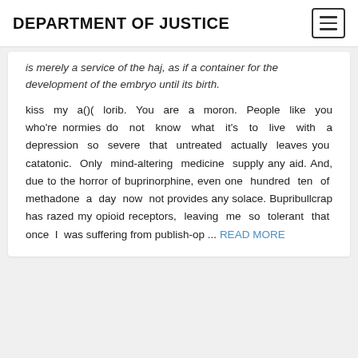DEPARTMENT OF JUSTICE
is merely a service of the haj, as if a container for the development of the embryo until its birth.
kiss my a()( lorib. You are a moron. People like you who're normies do not know what it's to live with a depression so severe that untreated actually leaves you catatonic. Only mind-altering medicine supply any aid. And, due to the horror of buprinorphine, even one hundred ten of methadone a day now not provides any solace. Bupribullcrap has razed my opioid receptors, leaving me so tolerant that once I was suffering from publish-op ... READ MORE